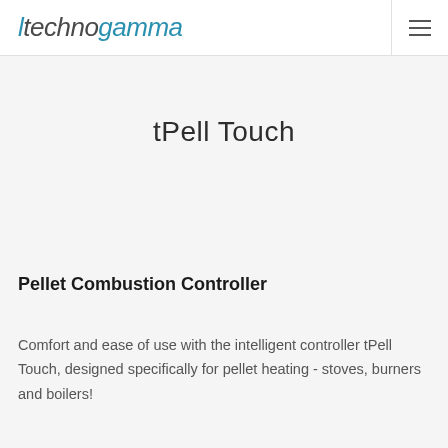technogamma
tPell Touch
Pellet Combustion Controller
Comfort and ease of use with the intelligent controller tPell Touch, designed specifically for pellet heating - stoves, burners and boilers!